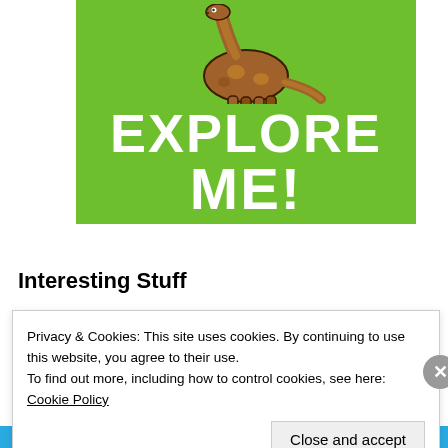[Figure (illustration): Book cover with green background showing a cartoon brachiosaurus dinosaur (brown with spots) at the top, large bold white text reading 'EXPLORE ME!' and subtitle 'Great Children's Stories!' in white spaced lettering below]
Interesting Stuff
Privacy & Cookies: This site uses cookies. By continuing to use this website, you agree to their use.
To find out more, including how to control cookies, see here: Cookie Policy
Close and accept